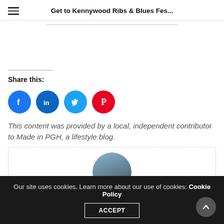Get to Kennywood Ribs & Blues Fes...
Share this:
[Figure (infographic): Social sharing icons: Facebook (blue circle), LinkedIn (blue circle), Twitter (light blue circle), Pinterest (red circle)]
This content was provided by a local, independent contributor to Made in PGH, a lifestyle blog.
[Figure (photo): Circular author avatar photo of a person wearing a cap and dark shirt]
Our site uses cookies. Learn more about our use of cookies: Cookie Policy ACCEPT